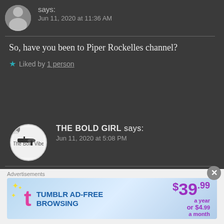says:
Jun 11, 2020 at 11:36 AM
So, have you been to Piper Rockelles channel?
★ Liked by 1 person
THE BOLD GIRL says:
Jun 11, 2020 at 5:08 PM
No, not yet. I'm really down today. Mom wasn't well. Took a
[Figure (screenshot): Tumblr Ad-Free Browsing advertisement banner showing $39.99 a year or $4.99 a month]
Advertisements